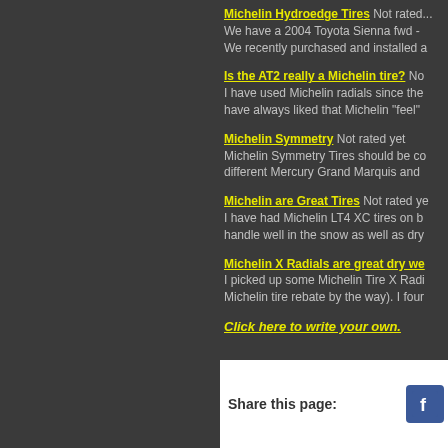Michelin Hydroedge Tires Not rated... We have a 2004 Toyota Sienna fwd - We recently purchased and installed a
Is the AT2 really a Michelin tire? No... I have used Michelin radials since the... have always liked that Michelin "feel"
Michelin Symmetry Not rated yet Michelin Symmetry Tires should be co... different Mercury Grand Marquis and
Michelin are Great Tires Not rated ye... I have had Michelin LT4 XC tires on b... handle well in the snow as well as dry
Michelin X Radials are great dry we... I picked up some Michelin Tire X Radi... Michelin tire rebate by the way). I four
Click here to write your own.
Share this page: